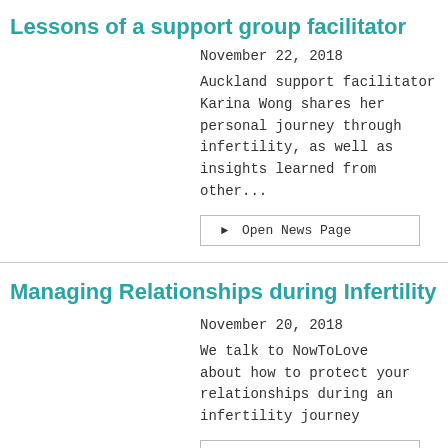Lessons of a support group facilitator
November 22, 2018
Auckland support facilitator Karina Wong shares her personal journey through infertility, as well as insights learned from other...
Open News Page
Managing Relationships during Infertility
November 20, 2018
We talk to NowToLove about how to protect your relationships during an infertility journey
Open News Page